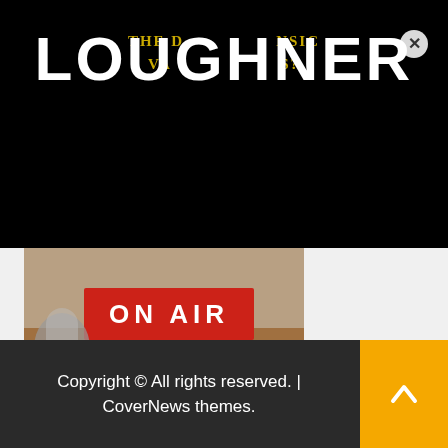THE DISTURBING FORENSIC VALUES?
LOUGHNER
[Figure (photo): Photo of an ON AIR radio studio sign on a wooden surface with microphone equipment]
Interviews
Interview: Stephanie Sledge Joins Don Jeffries on iProtest:
1 year ago   atruerag
Copyright © All rights reserved. | CoverNews themes.